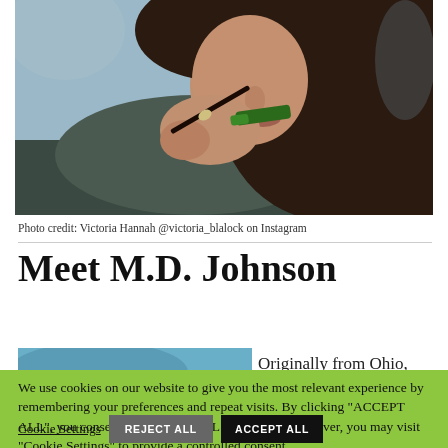[Figure (photo): Woman using a green pipe/smoking device, with long dark hair and a dark jacket, photographed outdoors]
Photo credit: Victoria Hannah @victoria_blalock on Instagram
Meet M.D. Johnson
[Figure (photo): Partial photo visible below title, appears to be an outdoor scene]
Originally from Ohio,
We use cookies on our website to give you the most relevant experience by remembering your preferences and repeat visits. By clicking "ACCEPT ALL", you consent to the use of ALL the cookies. However, you may visit "Cookie Settings" to provide a controlled consent.
Cookie Settings
REJECT ALL
ACCEPT ALL